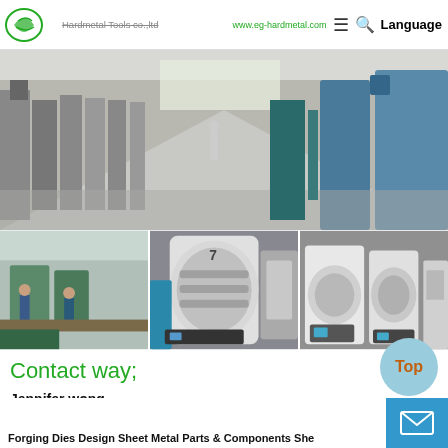Hardmetal Tools co.,ltd | www.eg-hardmetal.com | Language
[Figure (photo): Manufacturing facility floor with industrial machinery in a row, wide-angle view of factory interior]
[Figure (photo): Three factory floor photos side by side: left shows workers at assembly stations, center shows a large white industrial furnace/oven machine, right shows white industrial equipment/machines]
Contact way;
Jennifer wong
Forging Dies Design Sheet Metal Parts & Components She